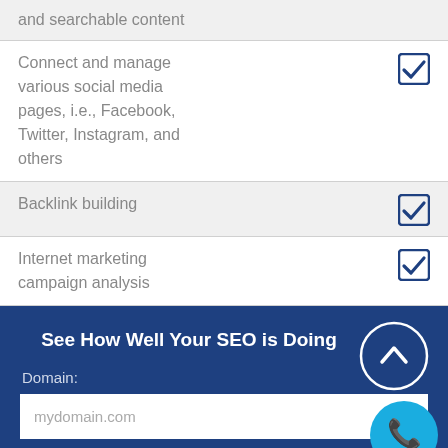and searchable content
Connect and manage various social media pages, i.e., Facebook, Twitter, Instagram, and others
Backlink building
Internet marketing campaign analysis
See How Well Your SEO is Doing
Domain:
mydomain.com